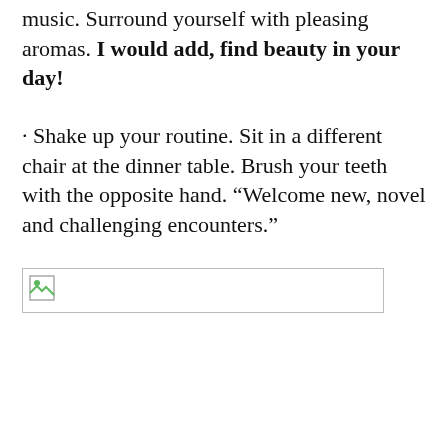music. Surround yourself with pleasing aromas. I would add, find beauty in your day!
· Shake up your routine. Sit in a different chair at the dinner table. Brush your teeth with the opposite hand. “Welcome new, novel and challenging encounters.”
[Figure (photo): Broken/unloaded image placeholder shown as a small icon with border]